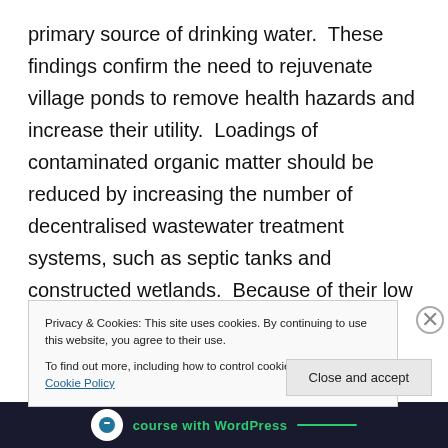primary source of drinking water.  These findings confirm the need to rejuvenate village ponds to remove health hazards and increase their utility.  Loadings of contaminated organic matter should be reduced by increasing the number of decentralised wastewater treatment systems, such as septic tanks and constructed wetlands.  Because of their low operational and maintenance costs, constructed wetlands are an attractive option, and to better manage occasional high nutrient loading events, their use could be supplemented by in-pond treatments such as aeration, the harvesting of
Privacy & Cookies: This site uses cookies. By continuing to use this website, you agree to their use.
To find out more, including how to control cookies, see here: Cookie Policy
Close and accept
[Figure (screenshot): Bottom banner with WordPress course advertisement, showing a circular icon and green text 'course with WordPress' on dark background.]